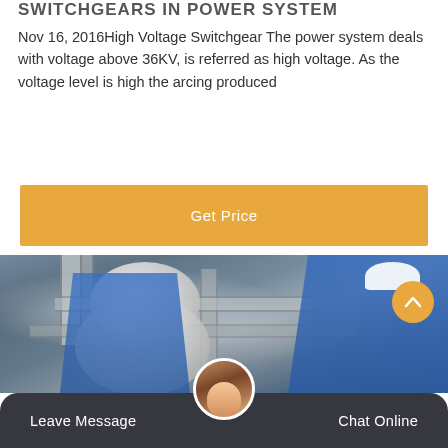SWITCHGEARS IN POWER SYSTEM
Nov 16, 2016High Voltage Switchgear The power system deals with voltage above 36KV, is referred as high voltage. As the voltage level is high the arcing produced
[Figure (other): Orange 'Get Price' button / call-to-action banner]
[Figure (photo): Industrial workers in blue overalls and hard hats inspecting high voltage switchgear equipment with pipes and large cylindrical components in a power substation]
[Figure (other): Bottom navigation bar with Leave Message and Chat Online buttons, a customer service avatar in the center, and an orange scroll-up arrow button]